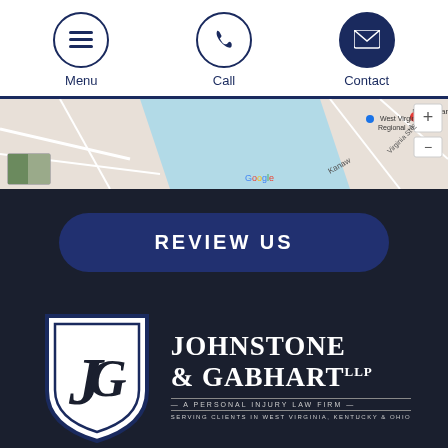[Figure (screenshot): Navigation bar with three circular icon buttons: Menu (hamburger icon), Call (phone icon), Contact (envelope icon), all in navy blue on white background]
[Figure (map): Google Maps screenshot showing area near MacFarland-Hubbard House and West Virginia Regional Jail, with a river/waterway visible]
[Figure (other): Dark navy rounded rectangle button with text REVIEW US in white bold uppercase letters]
[Figure (logo): Johnstone & Gabhart LLP logo — shield emblem with JG monogram on left, firm name in serif font on right, tagline: A Personal Injury Law Firm, Serving Clients in West Virginia, Kentucky & Ohio]